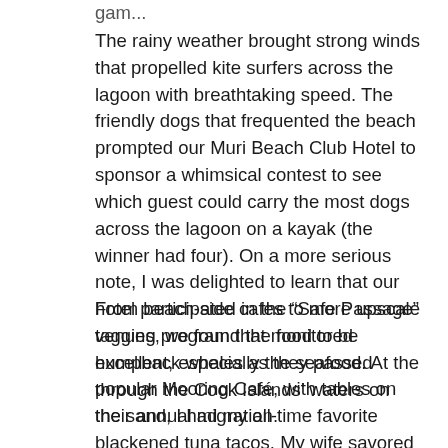gam...
The rainy weather brought strong winds that propelled kite surfers across the lagoon with breathtaking speed. The friendly dogs that frequented the beach prompted our Muri Beach Club Hotel to sponsor a whimsical contest to see which guest could carry the most dogs across the lagoon on a kayak (the winner had four). On a more serious note, I was delighted to learn that our hotel participated in the “Safe Passage” tagging program that monitored humpback whales as they passed through the Cook Islands’ waters on their annual migration.
From beach-side cafes to more upscale venues, we found the food to be excellent, especially the seafood. At the popular Mooring Café, with tables on the sand, I had my all-time favorite blackened tuna tacos. My wife savored the FOB (fresh off the boat) mahi-mahi and... During the Highland Boarding...